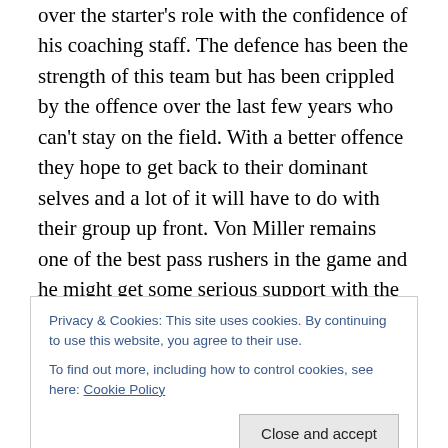over the starter's role with the confidence of his coaching staff. The defence has been the strength of this team but has been crippled by the offence over the last few years who can't stay on the field. With a better offence they hope to get back to their dominant selves and a lot of it will have to do with their group up front. Von Miller remains one of the best pass rushers in the game and he might get some serious support with the addition of rookie Bradley Chubb on the other side of the line. In the linebacking corps the leading tackler Brandon Marshall is back to solidify a
Privacy & Cookies: This site uses cookies. By continuing to use this website, you agree to their use. To find out more, including how to control cookies, see here: Cookie Policy
big changes might be happening. They will look to the